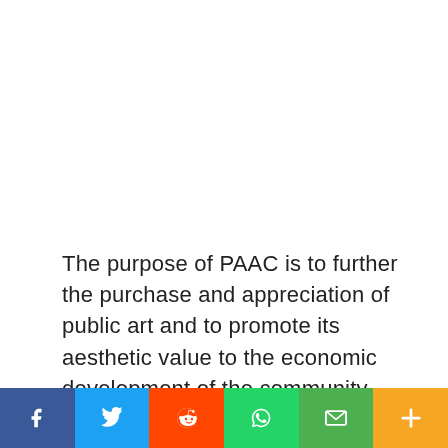The purpose of PAAC is to further the purchase and appreciation of public art and to promote its aesthetic value to the economic development of the community. The CCAD was established by the PAAC and approved by the Valdosta City Council in October 2016, becoming the first arts district in the city's
[Figure (other): Social media sharing bar with Facebook, Twitter, Reddit, WhatsApp, Email, and Plus buttons]